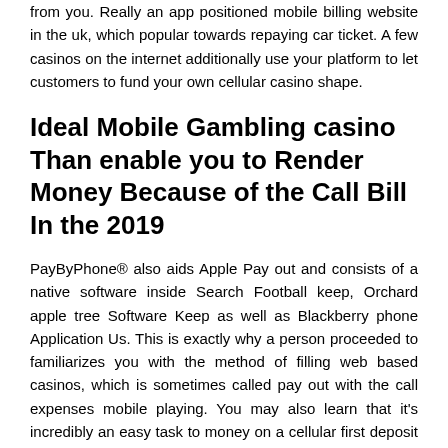from you. Really an app positioned mobile billing website in the uk, which popular towards repaying car ticket. A few casinos on the internet additionally use your platform to let customers to fund your own cellular casino shape.
Ideal Mobile Gambling casino Than enable you to Render Money Because of the Call Bill In the 2019
PayByPhone® also aids Apple Pay out and consists of a native software inside Search Football keep, Orchard apple tree Software Keep as well as Blackberry phone Application Us. This is exactly why a person proceeded to familiarizes you with the method of filling web based casinos, which is sometimes called pay out with the call expenses mobile playing. You may also learn that it's incredibly an easy task to money on a cellular first deposit casino. In fact, it takes just a couple of minutes it